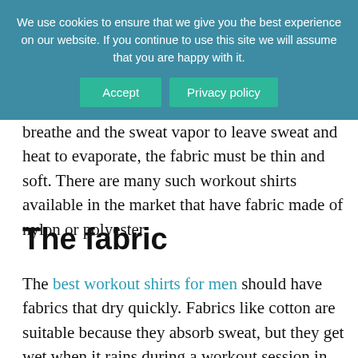breathe and the sweat vapor to leave sweat and heat to evaporate, the fabric must be thin and soft. There are many such workout shirts available in the market that have fabric made of nylon or polyester.
We use cookies to ensure that we give you the best experience on our website. If you continue to use this site we will assume that you are happy with it.
The fabric
The best workout shirts for men should have fabrics that dry quickly. Fabrics like cotton are suitable because they absorb sweat, but they get wet when it rains during a workout session in the gym. When purchasing workout clothes, it is essential to choose a material that absorbs sweat and dries quickly. Cotton, polyester, or nylon are good choices for this.